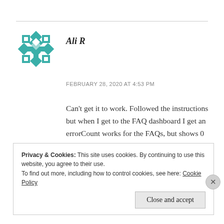[Figure (logo): Decorative geometric teal/green avatar icon with diamond and cross pattern]
Ali R
FEBRUARY 28, 2020 AT 4:53 PM
Can't get it to work. Followed the instructions but when I get to the FAQ dashboard I get an errorCount works for the FAQs, but shows 0 for Categories???\"Something wrong with the lists. Please check whether the lists exists or not!\", doublechecked it, list exists...
Privacy & Cookies: This site uses cookies. By continuing to use this website, you agree to their use.
To find out more, including how to control cookies, see here: Cookie Policy
Close and accept